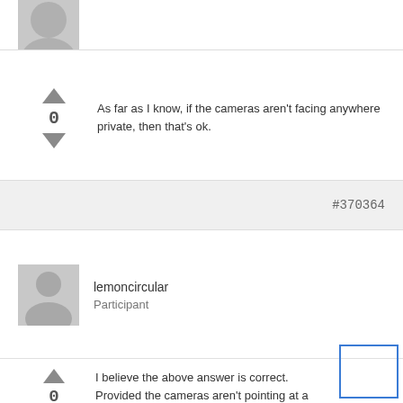[Figure (illustration): Partially visible grey user avatar at top of page]
As far as I know, if the cameras aren't facing anywhere private, then that's ok.
#370364
[Figure (illustration): Grey default user avatar for lemoncircular]
lemoncircular Participant
I believe the above answer is correct. Provided the cameras aren't pointing at a place where people have a reasonable expectation of privacy (i.e. showers, inside their homes, etc.), your HOA can legally install security cams in common areas.